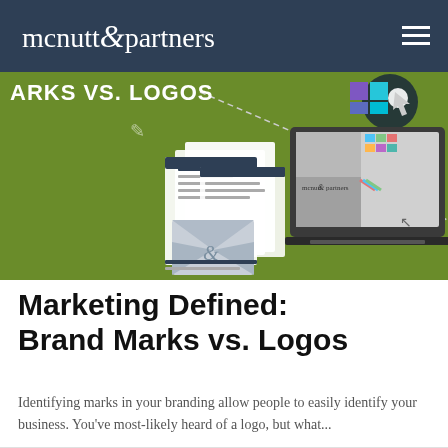mcnutt & partners
[Figure (illustration): Hero banner image with green background showing brand marks vs logos design elements including documents, laptop screen with mcnutt & partners logo, envelope with ampersand, and design tools. Text overlay reads 'ARKS VS. LOGOS' (partial: BRAND MARKS VS. LOGOS).]
Marketing Defined: Brand Marks vs. Logos
Identifying marks in your branding allow people to easily identify your business. You've most-likely heard of a logo, but what...